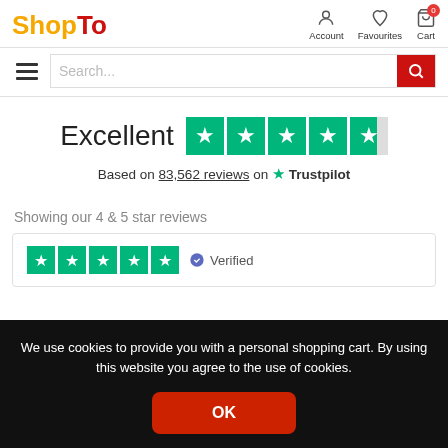[Figure (logo): ShopTo logo with Shop in orange/yellow and To in red]
[Figure (infographic): Navigation icons: Account (person), Favourites (heart), Cart (shopping cart with 0 badge)]
[Figure (screenshot): Hamburger menu icon (three horizontal lines)]
[Figure (screenshot): Search bar with placeholder text and red search button]
Excellent
[Figure (infographic): Trustpilot 4.5 star rating: 4 full green stars and 1 partial star]
Based on 83,562 reviews on Trustpilot
Showing our 4 & 5 star reviews
[Figure (infographic): Review card with 5 green star rating and Verified badge]
We use cookies to provide you with a personal shopping cart. By using this website you agree to the use of cookies.
OK